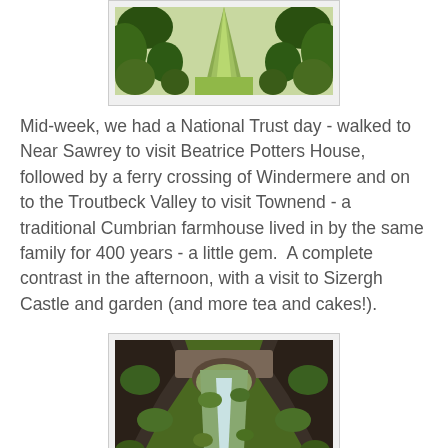[Figure (photo): A tree-lined garden path with neatly trimmed hedges forming a symmetrical avenue leading into the distance on a green lawn.]
Mid-week, we had a National Trust day - walked to Near Sawrey to visit Beatrice Potters House, followed by a ferry crossing of Windermere and on to the Troutbeck Valley to visit Townend - a traditional Cumbrian farmhouse lived in by the same family for 400 years - a little gem.  A complete contrast in the afternoon, with a visit to Sizergh Castle and garden (and more tea and cakes!).
[Figure (photo): A dramatic waterfall cascading through a rocky moss-covered gorge with an arched stone bridge visible at the top.]